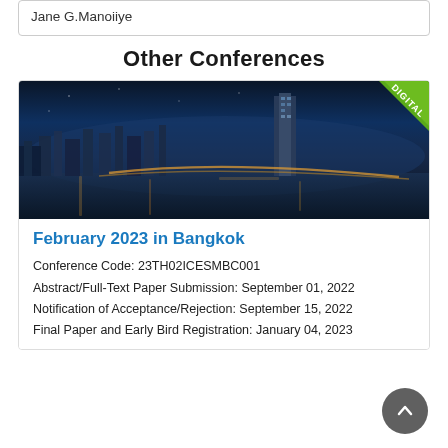Jane G.Manoiiye
Other Conferences
[Figure (photo): Nighttime panoramic city skyline of Bangkok with a river, lit highways, and tall skyscrapers. Green 'DIGITAL' ribbon badge in top-right corner.]
February 2023 in Bangkok
Conference Code: 23TH02ICESMBC001
Abstract/Full-Text Paper Submission: September 01, 2022
Notification of Acceptance/Rejection: September 15, 2022
Final Paper and Early Bird Registration: January 04, 2023